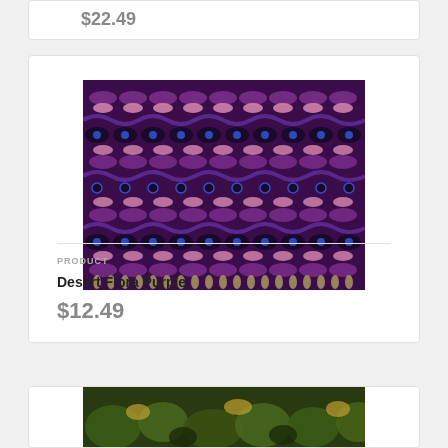$22.49
[Figure (photo): Purple decorative fabric pattern with repeating floral/geometric motifs in pink, purple and dark tones]
PRODUCT
Desert Flora Purple
$12.49
[Figure (photo): Partial view of another fabric pattern in green and gold tones at the bottom of the page]